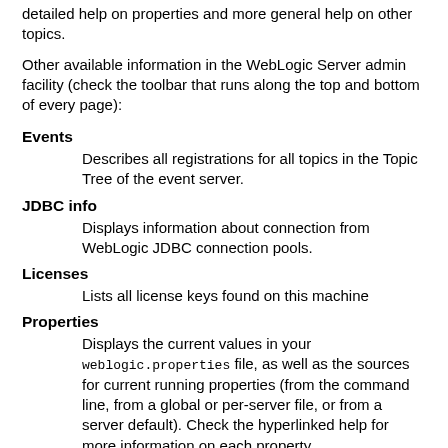detailed help on properties and more general help on other topics.
Other available information in the WebLogic Server admin facility (check the toolbar that runs along the top and bottom of every page):
Events — Describes all registrations for all topics in the Topic Tree of the event server.
JDBC info — Displays information about connection from WebLogic JDBC connection pools.
Licenses — Lists all license keys found on this machine
Properties — Displays the current values in your weblogic.properties file, as well as the sources for current running properties (from the command line, from a global or per-server file, or from a server default). Check the hyperlinked help for more information on each property.
WebLogic Connections — Displays information about all of the WebLogic Server's currently active connections, including port information and...